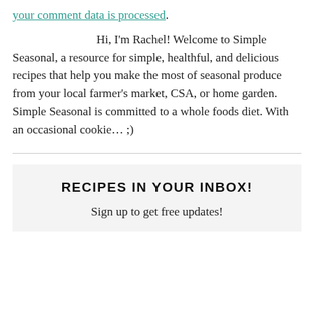your comment data is processed.
Hi, I'm Rachel! Welcome to Simple Seasonal, a resource for simple, healthful, and delicious recipes that help you make the most of seasonal produce from your local farmer's market, CSA, or home garden. Simple Seasonal is committed to a whole foods diet. With an occasional cookie... ;)
RECIPES IN YOUR INBOX!
Sign up to get free updates!